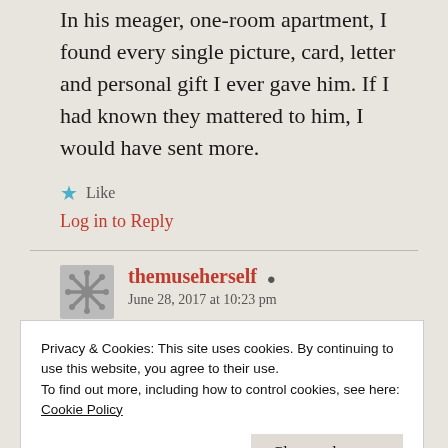In his meager, one-room apartment, I found every single picture, card, letter and personal gift I ever gave him. If I had known they mattered to him, I would have sent more.
★ Like
Log in to Reply
themuseherself
June 28, 2017 at 10:23 pm
Privacy & Cookies: This site uses cookies. By continuing to use this website, you agree to their use.
To find out more, including how to control cookies, see here:
Cookie Policy
Close and accept
haven't had the push to get it going.